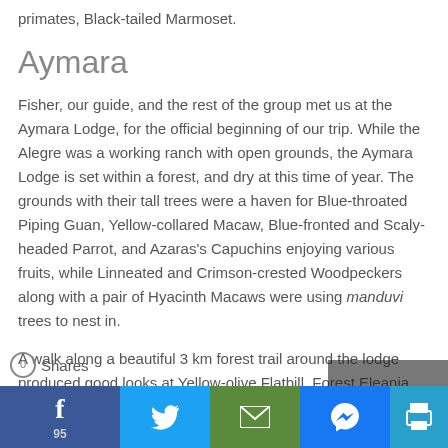primates, Black-tailed Marmoset.
Aymara
Fisher, our guide, and the rest of the group met us at the Aymara Lodge, for the official beginning of our trip. While the Alegre was a working ranch with open grounds, the Aymara Lodge is set within a forest, and dry at this time of year. The grounds with their tall trees were a haven for Blue-throated Piping Guan, Yellow-collared Macaw, Blue-fronted and Scaly-headed Parrot, and Azaras's Capuchins enjoying various fruits, while Linneated and Crimson-crested Woodpeckers along with a pair of Hyacinth Macaws were using manduvi trees to nest in.
A walk along a beautiful 3 km forest trail around the lodge produced good looks at Yellow-olive Flatbill, Forest Eleania, White-wedged Piculet, Grey-headed Tanager, Pearly-vented Tody-Ty... Antwrer...